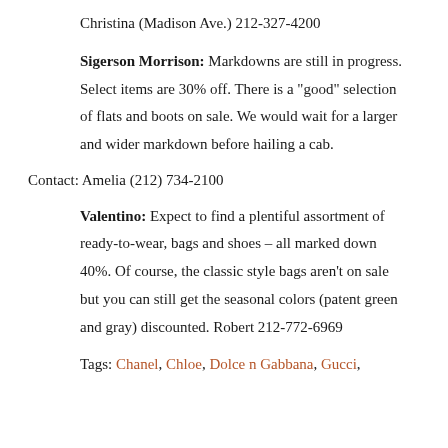Christina (Madison Ave.) 212-327-4200
Sigerson Morrison: Markdowns are still in progress. Select items are 30% off. There is a "good" selection of flats and boots on sale. We would wait for a larger and wider markdown before hailing a cab.
Contact: Amelia (212) 734-2100
Valentino: Expect to find a plentiful assortment of ready-to-wear, bags and shoes – all marked down 40%. Of course, the classic style bags aren't on sale but you can still get the seasonal colors (patent green and gray) discounted. Robert 212-772-6969
Tags: Chanel, Chloe, Dolce n Gabbana, Gucci,